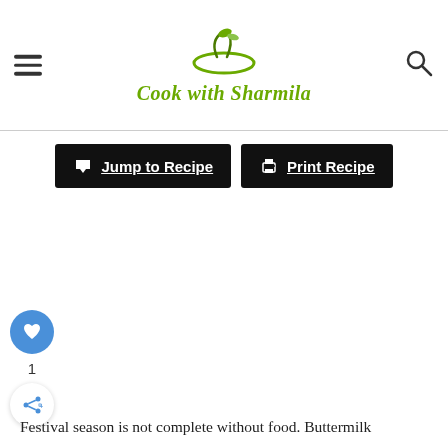Cook with Sharmila
[Figure (screenshot): Two black buttons: 'Jump to Recipe' with down arrow icon and 'Print Recipe' with printer icon]
[Figure (infographic): Sidebar with blue heart button, number 1, and share button]
Festival season is not complete without food. Buttermilk